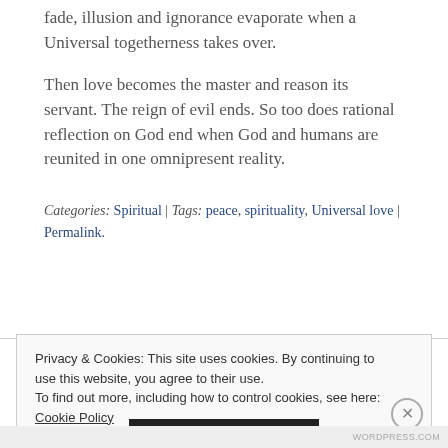fade, illusion and ignorance evaporate when a Universal togetherness takes over.
Then love becomes the master and reason its servant. The reign of evil ends. So too does rational reflection on God end when God and humans are reunited in one omnipresent reality.
Categories: Spiritual | Tags: peace, spirituality, Universal love | Permalink.
Privacy & Cookies: This site uses cookies. By continuing to use this website, you agree to their use. To find out more, including how to control cookies, see here: Cookie Policy
WORDPRESS.COM